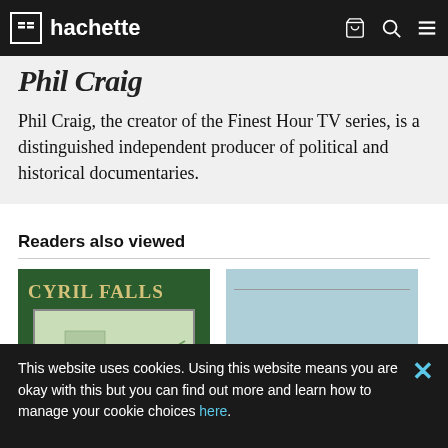hachette
Phil Craig
Phil Craig, the creator of the Finest Hour TV series, is a distinguished independent producer of political and historical documentaries.
Readers also viewed
[Figure (photo): Book cover: Cyril Falls - green cover with gold title text and an illustrated map inset]
[Figure (photo): Book cover: The Hairy Bikers - light blue cover with orange/terracotta title text]
This website uses cookies. Using this website means you are okay with this but you can find out more and learn how to manage your cookie choices here.